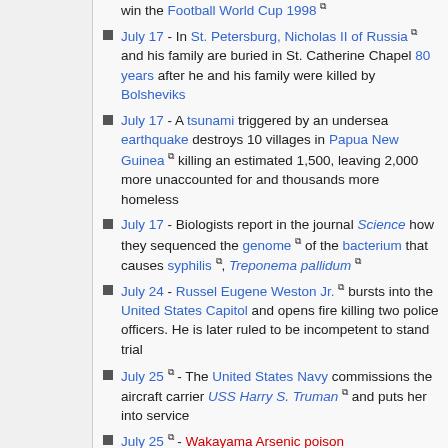win the Football World Cup 1998
July 17 - In St. Petersburg, Nicholas II of Russia and his family are buried in St. Catherine Chapel 80 years after he and his family were killed by Bolsheviks
July 17 - A tsunami triggered by an undersea earthquake destroys 10 villages in Papua New Guinea killing an estimated 1,500, leaving 2,000 more unaccounted for and thousands more homeless
July 17 - Biologists report in the journal Science how they sequenced the genome of the bacterium that causes syphilis, Treponema pallidum
July 24 - Russel Eugene Weston Jr. bursts into the United States Capitol and opens fire killing two police officers. He is later ruled to be incompetent to stand trial
July 25 - The United States Navy commissions the aircraft carrier USS Harry S. Truman and puts her into service
July 25 - Wakayama Arsenic poison